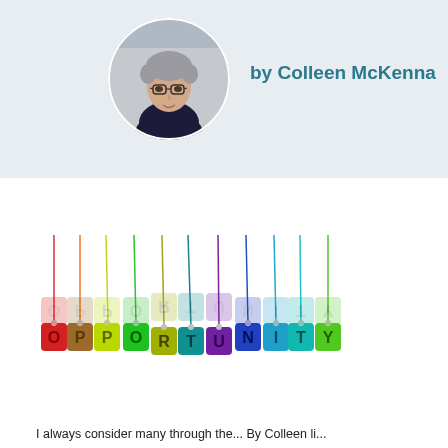[Figure (photo): Circular portrait photo of a woman with short grey hair and glasses, wearing a dark blazer, against a light background.]
by Colleen McKenna
[Figure (photo): Colorful tags hanging on strings spelling out the word OPPORTUNITY in large letters, with a reflection visible below.]
I always consider many through the...By Colleen li...